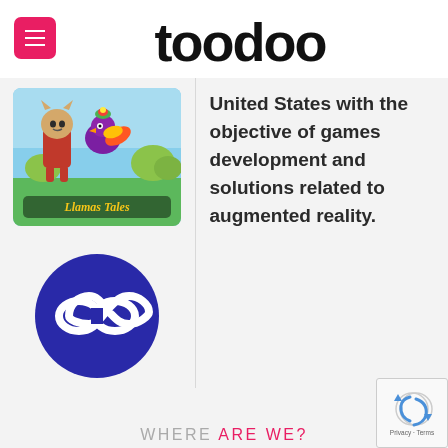toodoo
[Figure (logo): toodoo logo in large bold text centered in white header bar, with pink/red hamburger menu button on the left]
[Figure (illustration): Game artwork showing animated character (cat in a red outfit) with a bird companion, with 'Llamas Tales' title text at the bottom on a colorful outdoor background]
United States with the objective of games development and solutions related to augmented reality.
[Figure (logo): Dark blue circle with white infinity symbol (Toodoo logo)]
WHERE ARE WE?